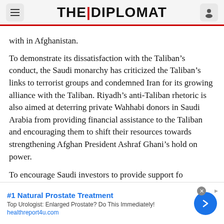THE DIPLOMAT
with in Afghanistan.
To demonstrate its dissatisfaction with the Taliban’s conduct, the Saudi monarchy has criticized the Taliban’s links to terrorist groups and condemned Iran for its growing alliance with the Taliban. Riyadh’s anti-Taliban rhetoric is also aimed at deterring private Wahhabi donors in Saudi Arabia from providing financial assistance to the Taliban and encouraging them to shift their resources towards strengthening Afghan President Ashraf Ghani’s hold on power.
To encourage Saudi investors to provide support fo…
[Figure (other): Advertisement banner: #1 Natural Prostate Treatment. Top Urologist: Enlarged Prostate? Do This Immediately! healthreport4u.com]